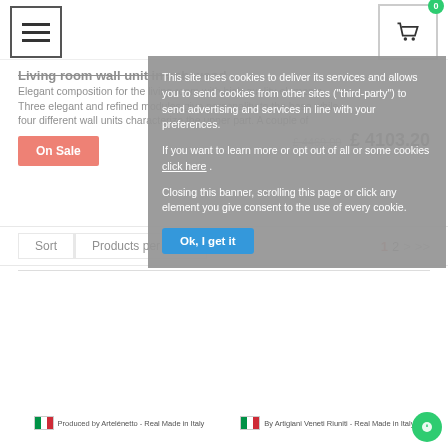Navigation header with hamburger menu and cart icon (0 items)
Living room wall unit in ash wood
Elegant composition for the living room with high quality elements. Three elegant and refined modules give personality to the base while four different wall units characterize the upper part. A couple of
On Sale
£ 4469.00  £ 4103.20
Sort   Products per page   1 2 > >>
This site uses cookies to deliver its services and allows you to send cookies from other sites ("third-party") to send advertising and services in line with your preferences.
If you want to learn more or opt out of all or some cookies click here .
Closing this banner, scrolling this page or click any element you give consent to the use of every cookie.
Ok, I get it
Produced by Artelénetto - Real Made in Italy   By Artigiani Veneti Riuniti - Real Made in Italy